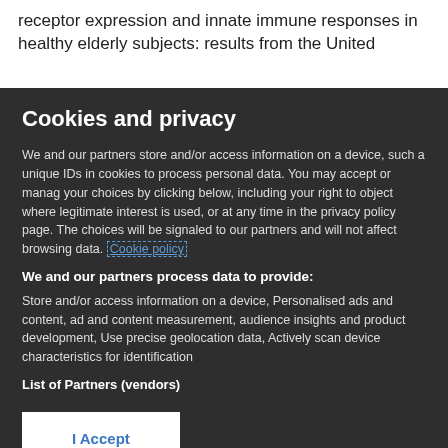receptor expression and innate immune responses in healthy elderly subjects: results from the United
Cookies and privacy
We and our partners store and/or access information on a device, such as unique IDs in cookies to process personal data. You may accept or manage your choices by clicking below, including your right to object where legitimate interest is used, or at any time in the privacy policy page. These choices will be signaled to our partners and will not affect browsing data. Cookie policy
We and our partners process data to provide:
Store and/or access information on a device, Personalised ads and content, ad and content measurement, audience insights and product development, Use precise geolocation data, Actively scan device characteristics for identification
List of Partners (vendors)
I Accept